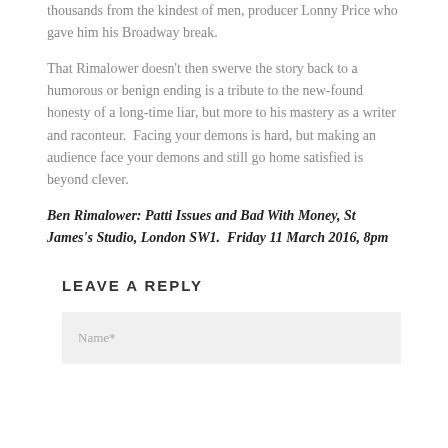thousands from the kindest of men, producer Lonny Price who gave him his Broadway break.
That Rimalower doesn't then swerve the story back to a humorous or benign ending is a tribute to the new-found honesty of a long-time liar, but more to his mastery as a writer and raconteur.  Facing your demons is hard, but making an audience face your demons and still go home satisfied is beyond clever.
Ben Rimalower: Patti Issues and Bad With Money, St James's Studio, London SW1.  Friday 11 March 2016, 8pm
LEAVE A REPLY
Name*